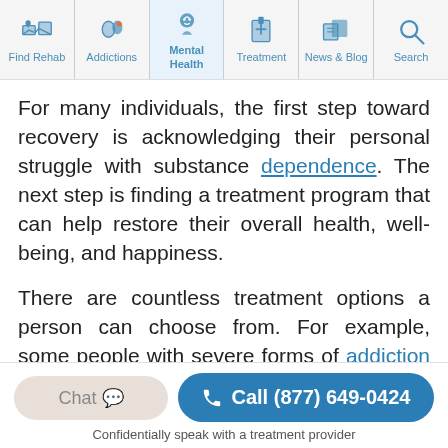Find Rehab | Addictions | Mental Health | Treatment | News & Blog | Search
For many individuals, the first step toward recovery is acknowledging their personal struggle with substance dependence. The next step is finding a treatment program that can help restore their overall health, well-being, and happiness.
There are countless treatment options a person can choose from. For example, some people with severe forms of addiction enter a detox program before transitioning into rehab. Others may choose to begin recovery at an inpatient or outpatient facility. After
Chat  Call (877) 649-0424
Confidentially speak with a treatment provider